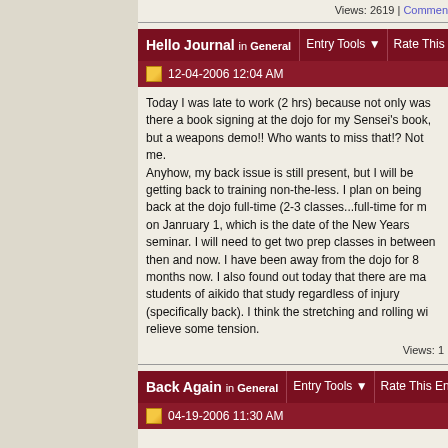Views: 2619 | Comments
Hello Journal  In General  |  Entry Tools ▼  |  Rate This Entry
12-04-2006 12:04 AM
Today I was late to work (2 hrs) because not only was there a book signing at the dojo for my Sensei's book, but a weapons demo!! Who wants to miss that!? Not me.
Anyhow, my back issue is still present, but I will be getting back to training non-the-less. I plan on being back at the dojo full-time (2-3 classes...full-time for m on Janruary 1, which is the date of the New Years seminar. I will need to get two prep classes in between then and now. I have been away from the dojo for 8 months now. I also found out today that there are many students of aikido that study regardless of injury (specifically back). I think the stretching and rolling will relieve some tension.
Views: 1
Back Again  In General  |  Entry Tools ▼  |  Rate This Entry
04-19-2006 11:30 AM